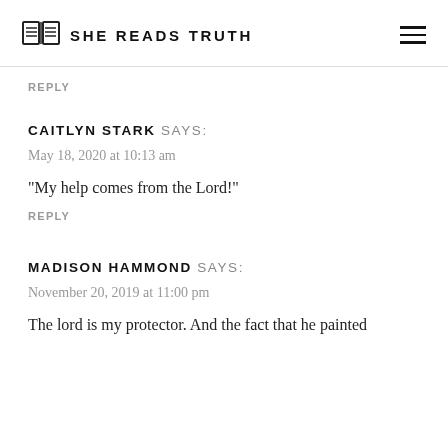SHE READS TRUTH
REPLY
CAITLYN STARK SAYS:
May 18, 2020 at 10:13 am
“My help comes from the Lord!”
REPLY
MADISON HAMMOND SAYS:
November 20, 2019 at 11:00 pm
The lord is my protector. And the fact that he painted